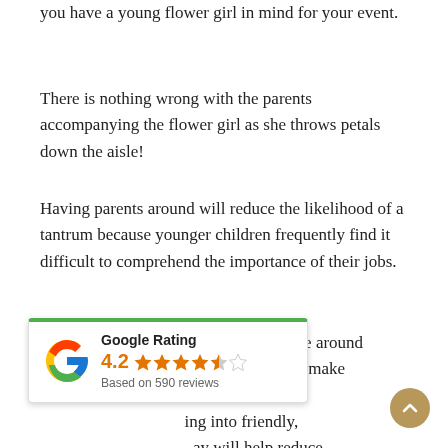you have a young flower girl in mind for your event.
There is nothing wrong with the parents accompanying the flower girl as she throws petals down the aisle!
Having parents around will reduce the likelihood of a tantrum because younger children frequently find it difficult to comprehend the importance of their jobs.
To help the flower girl feel more at ease around the other guests, try to make her attend the shower and other events leading into friendly, familiar faces on her big day will help reduce stress.
[Figure (infographic): Google Rating widget showing 4.2 stars based on 590 reviews, with Google 'G' logo in multi-color, green top border, star rating display]